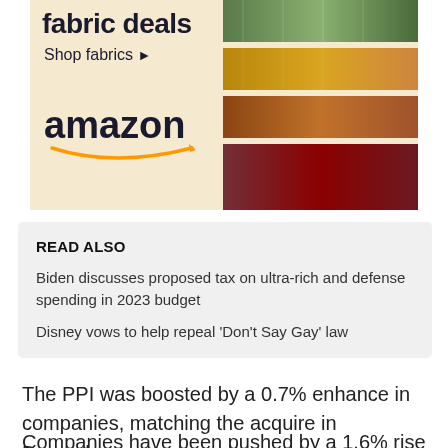[Figure (other): Amazon fabric deals advertisement banner with colorful fabric strip images on the right and Amazon logo on the left on a cream background. Shows 'fabric deals', 'Shop fabrics ▶', and the Amazon logo with smile.]
READ ALSO
Biden discusses proposed tax on ultra-rich and defense spending in 2023 budget
Disney vows to help repeal 'Don't Say Gay' law
The PPI was boosted by a 0.7% enhance in companies, matching the acquire in December.
Companies have been pushed by a 1.6% rise in the price of hospital outpatient care. There have been